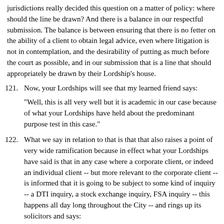jurisdictions really decided this question on a matter of policy: where should the line be drawn? And there is a balance in our respectful submission. The balance is between ensuring that there is no fetter on the ability of a client to obtain legal advice, even where litigation is not in contemplation, and the desirability of putting as much before the court as possible, and in our submission that is a line that should appropriately be drawn by their Lordship's house.
121. Now, your Lordships will see that my learned friend says:
"Well, this is all very well but it is academic in our case because of what your Lordships have held about the predominant purpose test in this case."
122. What we say in relation to that is that that also raises a point of very wide ramification because in effect what your Lordships have said is that in any case where a corporate client, or indeed an individual client -- but more relevant to the corporate client -- is informed that it is going to be subject to some kind of inquiry -- a DTI inquiry, a stock exchange inquiry, FSA inquiry -- this happens all day long throughout the City -- and rings up its solicitors and says:
"We have been told that we may be subject to inquiry. We